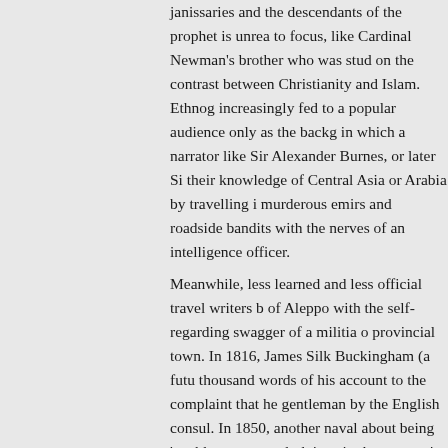janissaries and the descendants of the prophet is unrea to focus, like Cardinal Newman's brother who was stud on the contrast between Christianity and Islam. Ethnog increasingly fed to a popular audience only as the backg in which a narrator like Sir Alexander Burnes, or later Si their knowledge of Central Asia or Arabia by travelling i murderous emirs and roadside bandits with the nerves of an intelligence officer.
Meanwhile, less learned and less official travel writers b of Aleppo with the self-regarding swagger of a militia o provincial town. In 1816, James Silk Buckingham (a futu thousand words of his account to the complaint that he gentleman by the English consul. In 1850, another naval about being 'unable to procure lodgings in the convent', looks and dress of the local women, and disparagingly o garden, which he has hired for a drinking party. Extracts printed by Philip Mansel in his stylish and affectionate h